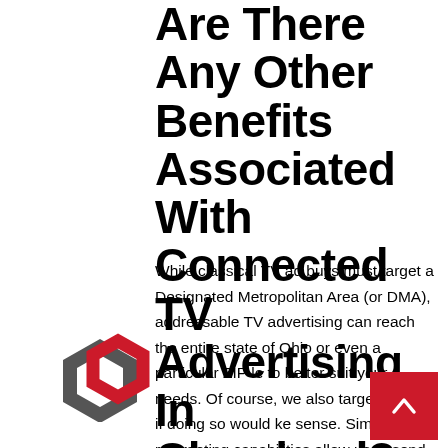Are There Any Other Benefits Associated With Connected TV Advertising In Cleveland?
While classical TV ad buys must target a Designated Metropolitan Area (or DMA), addressable TV advertising can reach the entire state of Ohio or even a particular ZIP le to better suit your needs. Of course, we also target a DMA if doing so would ke sense. Similarly, retargeting capabilities allow us to send follow-up ads to consumers